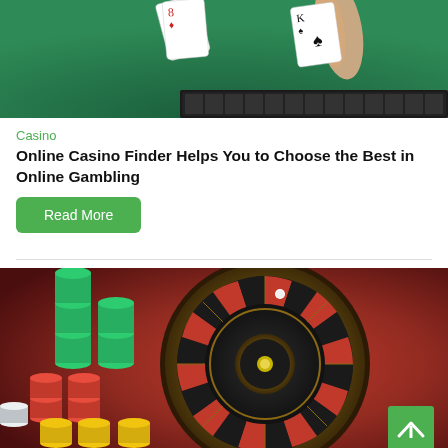[Figure (photo): A blackjack/card game table with green felt, playing cards being dealt by a hand, and casino chips in the background]
Casino
Online Casino Finder Helps You to Choose the Best in Online Gambling
Read More
[Figure (photo): A close-up of a roulette wheel on a red casino table surrounded by colorful casino chips (red, green, yellow, white)]